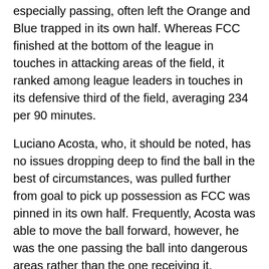especially passing, often left the Orange and Blue trapped in its own half. Whereas FCC finished at the bottom of the league in touches in attacking areas of the field, it ranked among league leaders in touches in its defensive third of the field, averaging 234 per 90 minutes.
Luciano Acosta, who, it should be noted, has no issues dropping deep to find the ball in the best of circumstances, was pulled further from goal to pick up possession as FCC was pinned in its own half. Frequently, Acosta was able to move the ball forward, however, he was the one passing the ball into dangerous areas rather than the one receiving it.
A top offseason priority for Albright should be bringing in midfielders who are competent ball progressors while at the same time, contributing the defensive work rate required in a 4-4-2 diamond. With Acosta playing as the furthest forward midfielder in that shape, he should have more opportunities to receive the ball higher up the field to